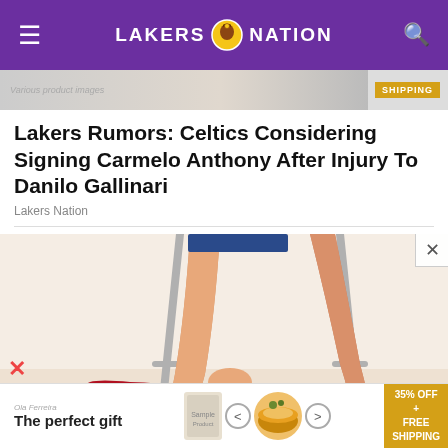LAKERS NATION
[Figure (illustration): Top ad banner with 'SHIPPING' label on gold background, showing partial product images]
Lakers Rumors: Celtics Considering Signing Carmelo Anthony After Injury To Danilo Gallinari
Lakers Nation
[Figure (illustration): Illustration of a woman's legs with red high heels, sitting on a stool, holding her ankle as if in pain, with crutches visible in the background]
[Figure (advertisement): Bottom banner ad: 'The perfect gift' with product images, arrows, and '35% OFF + FREE SHIPPING' in gold box]